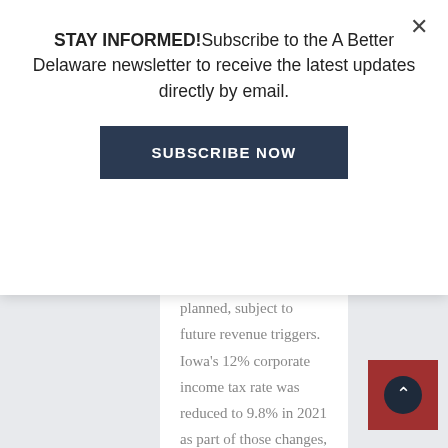STAY INFORMED!Subscribe to the A Better Delaware newsletter to receive the latest updates directly by email.
SUBSCRIBE NOW
planned, subject to future revenue triggers. Iowa's 12% corporate income tax rate was reduced to 9.8% in 2021 as part of those changes, along with a modernization of Iowa's sales and use tax.
In 2021, the legislature passed another tax reform measure, which not only phased-out the obsolete